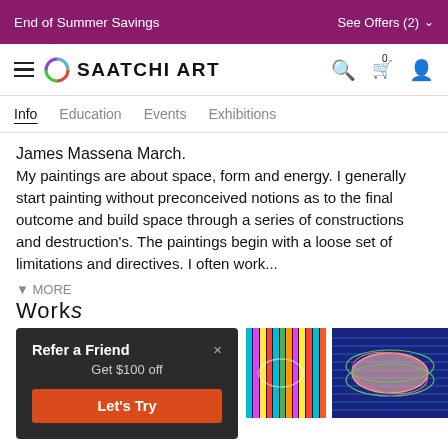End of Summer Savings   See Offers (2)
[Figure (logo): Saatchi Art logo with circular colorful ring and brand name]
Info  Education  Events  Exhibitions
James Massena March.
My paintings are about space, form and energy. I generally start painting without preconceived notions as to the final outcome and build space through a series of constructions and destruction's. The paintings begin with a loose set of limitations and directives. I often work...
Works
[Figure (infographic): Popup overlay: Refer a Friend - Get $100 off - Let's Try button]
[Figure (photo): Colorful abstract painting with teal, yellow, pink stripes]
[Figure (photo): Blue abstract painting with elliptical pink and green shapes]